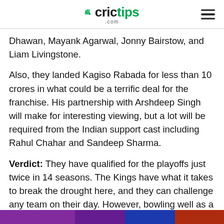crictips.com
Dhawan, Mayank Agarwal, Jonny Bairstow, and Liam Livingstone.
Also, they landed Kagiso Rabada for less than 10 crores in what could be a terrific deal for the franchise. His partnership with Arshdeep Singh will make for interesting viewing, but a lot will be required from the Indian support cast including Rahul Chahar and Sandeep Sharma.
Verdict: They have qualified for the playoffs just twice in 14 seasons. The Kings have what it takes to break the drought here, and they can challenge any team on their day. However, bowling well as a unit and finishing well with the bat will be their key challenges.
[Figure (photo): Colourful bottom image strip, partially visible, appears to be a cricket-related photo with purple, blue and orange tones.]